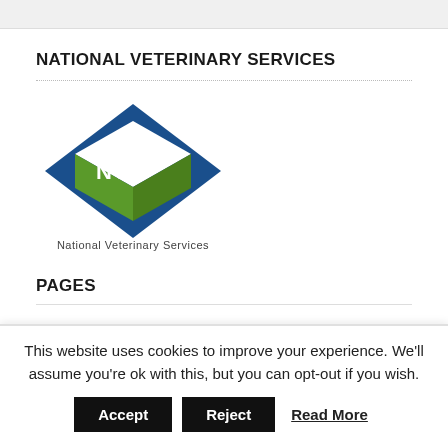NATIONAL VETERINARY SERVICES
[Figure (logo): NVS National Veterinary Services diamond logo with blue diamond shape, white square, green cube, and 'NVS' text in white. Below the logo reads 'National Veterinary Services'.]
PAGES
This website uses cookies to improve your experience. We'll assume you're ok with this, but you can opt-out if you wish.
Accept  Reject  Read More